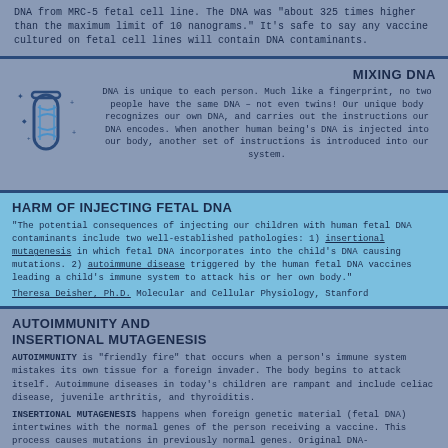DNA from MRC-5 fetal cell line. The DNA was "about 325 times higher than the maximum limit of 10 nanograms." It's safe to say any vaccine cultured on fetal cell lines will contain DNA contaminants.
MIXING DNA
[Figure (illustration): Icon of a test tube with DNA double helix inside, with small plus/star symbols around it, in blue outline style]
DNA is unique to each person. Much like a fingerprint, no two people have the same DNA – not even twins! Our unique body recognizes our own DNA, and carries out the instructions our DNA encodes. When another human being's DNA is injected into our body, another set of instructions is introduced into our system.
HARM OF INJECTING FETAL DNA
"The potential consequences of injecting our children with human fetal DNA contaminants include two well-established pathologies: 1) insertional mutagenesis in which fetal DNA incorporates into the child's DNA causing mutations. 2) autoimmune disease triggered by the human fetal DNA vaccines leading a child's immune system to attack his or her own body."
Theresa Deisher, Ph.D. Molecular and Cellular Physiology, Stanford
AUTOIMMUNITY AND INSERTIONAL MUTAGENESIS
AUTOIMMUNITY is "friendly fire" that occurs when a person's immune system mistakes its own tissue for a foreign invader. The body begins to attack itself. Autoimmune diseases in today's children are rampant and include celiac disease, juvenile arthritis, and thyroiditis.
INSERTIONAL MUTAGENESIS happens when foreign genetic material (fetal DNA) intertwines with the normal genes of the person receiving a vaccine. This process causes mutations in previously normal genes. Original DNA-